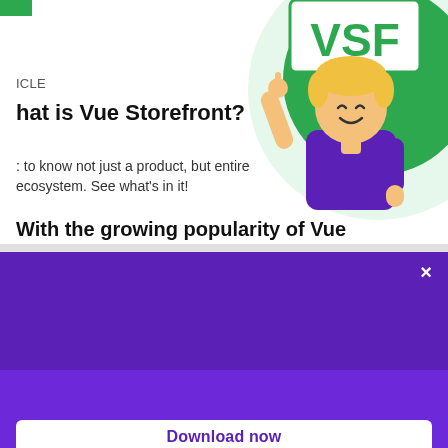ICLE
hat is Vue Storefront?
: to know not just a product, but entire ecosystem. See what's in it!
[Figure (illustration): Cartoon character with blonde hair wearing purple shirt, holding a sign that says VSF, on a green circular background]
With the growing popularity of Vue
Vue Storefront Data Sheet
⬇ Download to discover why Vue Storefront is the best starting point for your eCommerce project
Download now